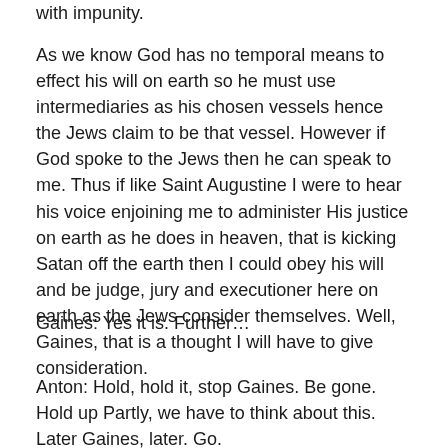with impunity.
As we know God has no temporal means to effect his will on earth so he must use intermediaries as his chosen vessels hence the Jews claim to be that vessel. However if God spoke to the Jews then he can speak to me. Thus if like Saint Augustine I were to hear his voice enjoining me to administer His justice on earth as he does in heaven, that is kicking Satan off the earth then I could obey his will and be judge, jury and executioner here on earth as the Jews consider themselves. Well, Gaines, that is a thought I will have to give consideration.
Gaines: Yes it is. Further…
Anton: Hold, hold it, stop Gaines. Be gone. Hold up Partly, we have to think about this. Later Gaines, later. Go.